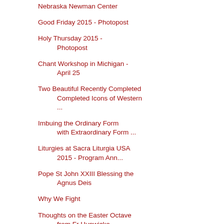Nebraska Newman Center
Good Friday 2015 - Photopost
Holy Thursday 2015 - Photopost
Chant Workshop in Michigan - April 25
Two Beautiful Recently Completed Icons of Western ...
Imbuing the Ordinary Form with Extraordinary Form ...
Liturgies at Sacra Liturgia USA 2015 - Program Ann...
Pope St John XXIII Blessing the Agnus Deis
Why We Fight
Thoughts on the Easter Octave from Fr Hunwicke